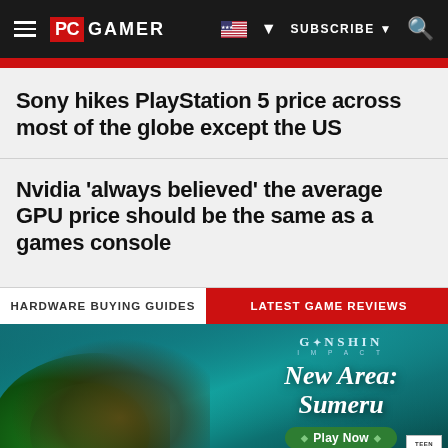PC GAMER | SUBSCRIBE | Search
Sony hikes PlayStation 5 price across most of the globe except the US
Nvidia 'always believed' the average GPU price should be the same as a games console
HARDWARE BUYING GUIDES
LATEST GAME REVIEWS
[Figure (illustration): Genshin Impact New Area: Sumeru advertisement banner with game character and Play Now button]